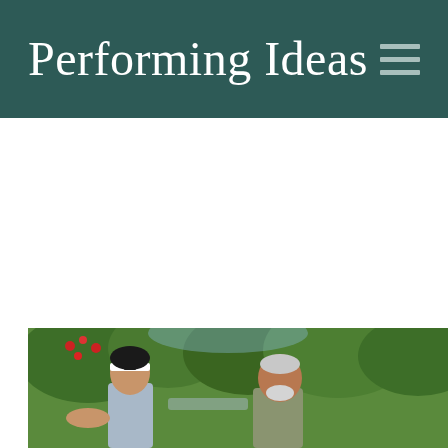Performing Ideas
[Figure (photo): A photograph showing two people outdoors — a young man wearing a white headband with his hand outstretched, and an older man beside him, with lush green trees and red flowers in the background. Scene resembles the Karate Kid movie.]